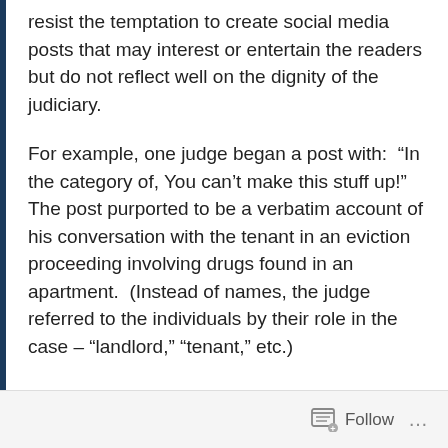resist the temptation to create social media posts that may interest or entertain the readers but do not reflect well on the dignity of the judiciary.
For example, one judge began a post with: “In the category of, You can’t make this stuff up!” The post purported to be a verbatim account of his conversation with the tenant in an eviction proceeding involving drugs found in an apartment. (Instead of names, the judge referred to the individuals by their role in the case – “landlord,” “tenant,” etc.)
A maintenance man testified to finding powder that tested positive for cocaine under the bathroom rug in the tenant’s apartment. The
Follow ...